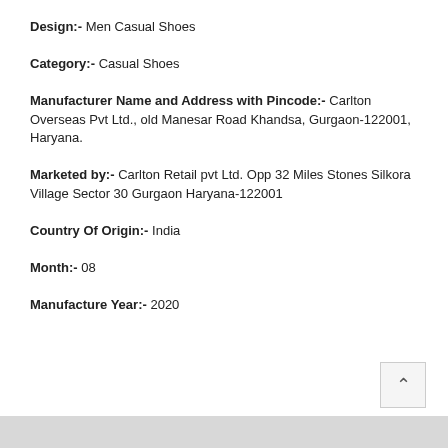Design:- Men Casual Shoes
Category:- Casual Shoes
Manufacturer Name and Address with Pincode:- Carlton Overseas Pvt Ltd., old Manesar Road Khandsa, Gurgaon-122001, Haryana.
Marketed by:- Carlton Retail pvt Ltd. Opp 32 Miles Stones Silkora Village Sector 30 Gurgaon Haryana-122001
Country Of Origin:- India
Month:- 08
Manufacture Year:- 2020